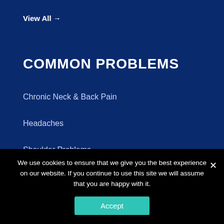View All →
COMMON PROBLEMS
Chronic Neck & Back Pain
Headaches
Shoulder Problems
Tendinitis/Tendinosis
Carpel Tunnel Syndrome
View All →
NEW PATIENTS
We use cookies to ensure that we give you the best experience on our website. If you continue to use this site we will assume that you are happy with it.
Accept